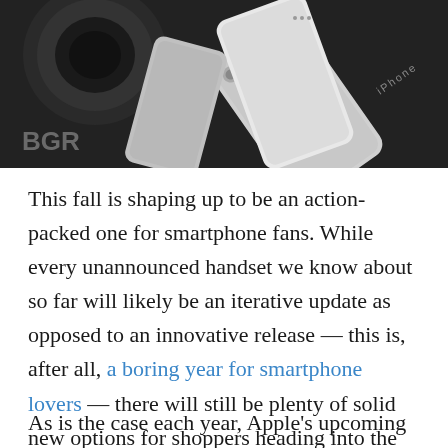[Figure (photo): Photograph of multiple iPhones and smartphones scattered on a dark surface, showing Apple logo on back of device. BGR watermark visible in lower left corner.]
This fall is shaping up to be an action-packed one for smartphone fans. While every unannounced handset we know about so far will likely be an iterative update as opposed to an innovative release — this is, after all, a boring year for smartphone lovers — there will still be plenty of solid new options for shoppers heading into the holidays.
As is the case each year, Apple's upcoming new iPhone is easily the most hotly anticipated of